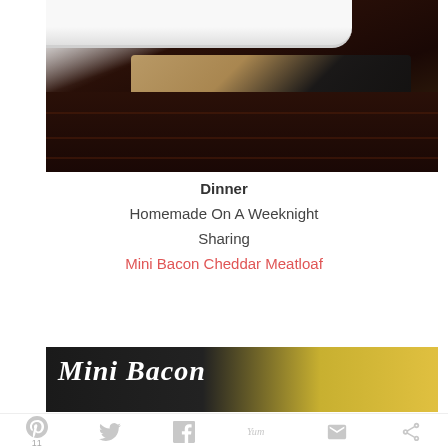[Figure (photo): Top portion of a food photo showing a white plate edge with dark cloth/burlap and dark wood surface background]
Dinner
Homemade On A Weeknight
Sharing
Mini Bacon Cheddar Meatloaf
[Figure (photo): Bottom of a food photo with cursive white text 'Mini Bacon' overlaid on dark background with yellow pasta/noodles visible]
Social sharing bar with Pinterest (11), Twitter, Facebook, Yum, Email, and share icons